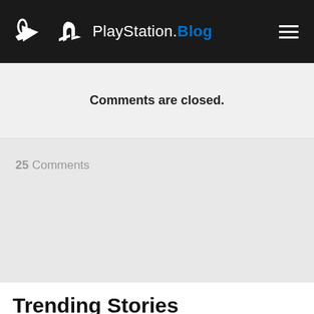PlayStation.Blog
Comments are closed.
25 Comments
Trending Stories
New combat and gameplay details for The Callisto Protocol